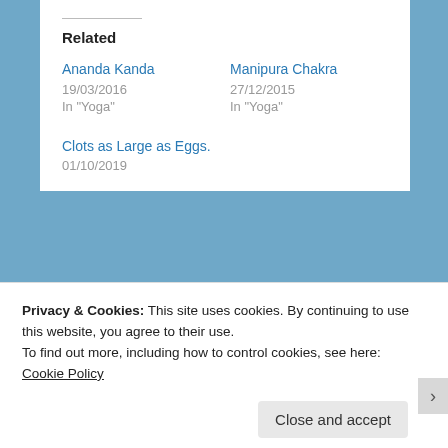Related
Ananda Kanda
19/03/2016
In "Yoga"
Manipura Chakra
27/12/2015
In "Yoga"
Clots as Large as Eggs.
01/10/2019
[Figure (other): About author section with teal image block and 'About AD' text]
Privacy & Cookies: This site uses cookies. By continuing to use this website, you agree to their use.
To find out more, including how to control cookies, see here: Cookie Policy
Close and accept